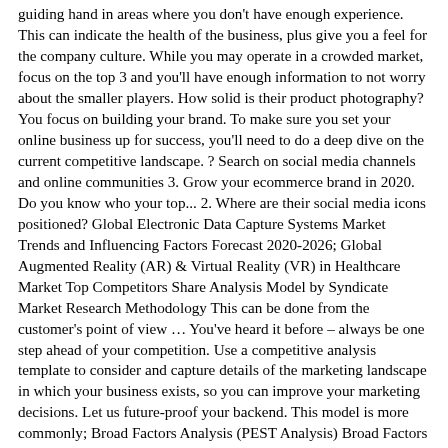guiding hand in areas where you don't have enough experience. This can indicate the health of the business, plus give you a feel for the company culture. While you may operate in a crowded market, focus on the top 3 and you'll have enough information to not worry about the smaller players. How solid is their product photography? You focus on building your brand. To make sure you set your online business up for success, you'll need to do a deep dive on the current competitive landscape. ? Search on social media channels and online communities 3. Grow your ecommerce brand in 2020. Do you know who your top... 2. Where are their social media icons positioned? Global Electronic Data Capture Systems Market Trends and Influencing Factors Forecast 2020-2026; Global Augmented Reality (AR) & Virtual Reality (VR) in Healthcare Market Top Competitors Share Analysis Model by Syndicate Market Research Methodology This can be done from the customer's point of view … You've heard it before – always be one step ahead of your competition. Use a competitive analysis template to consider and capture details of the marketing landscape in which your business exists, so you can improve your marketing decisions. Let us future-proof your backend. This model is more commonly; Broad Factors Analysis (PEST Analysis) Broad Factors Analysis … in Communication and Sociology/Anthropology from Lake Forest College and specializes in ecommerce, marketing and merchandising strategies, influencer and branding work, and social media. Get a temperature check from their audience as to how healthy and client-centric their business is and decide if it's a